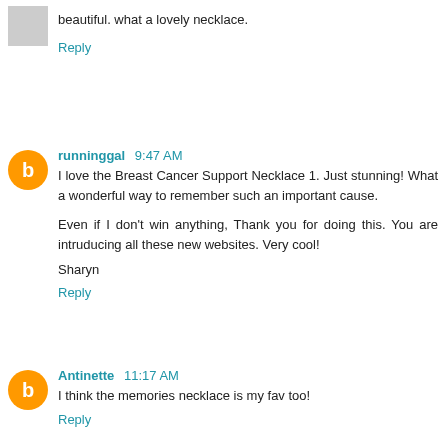beautiful. what a lovely necklace.
Reply
runninggal 9:47 AM
I love the Breast Cancer Support Necklace 1. Just stunning! What a wonderful way to remember such an important cause.

Even if I don't win anything, Thank you for doing this. You are intruducing all these new websites. Very cool!

Sharyn
Reply
Antinette 11:17 AM
I think the memories necklace is my fav too!
Reply